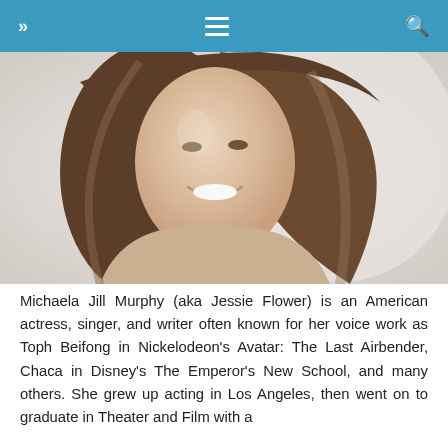>> ≡ 🔍
[Figure (photo): Headshot of a smiling woman with long brown hair, wearing a beige/tan off-shoulder top, against a light background.]
Michaela Jill Murphy (aka Jessie Flower) is an American actress, singer, and writer often known for her voice work as Toph Beifong in Nickelodeon's Avatar: The Last Airbender, Chaca in Disney's The Emperor's New School, and many others. She grew up acting in Los Angeles, then went on to graduate in Theater and Film with a